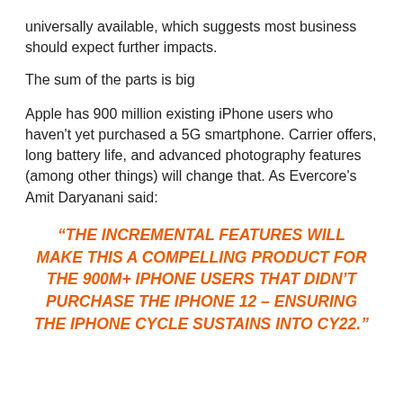universally available, which suggests most business should expect further impacts.
The sum of the parts is big
Apple has 900 million existing iPhone users who haven't yet purchased a 5G smartphone. Carrier offers, long battery life, and advanced photography features (among other things) will change that. As Evercore's Amit Daryanani said:
“THE INCREMENTAL FEATURES WILL MAKE THIS A COMPELLING PRODUCT FOR THE 900M+ IPHONE USERS THAT DIDN’T PURCHASE THE IPHONE 12 – ENSURING THE IPHONE CYCLE SUSTAINS INTO CY22.”